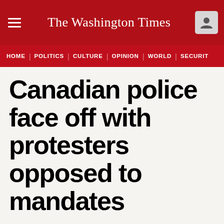The Washington Times
HOME | POLITICS | CULTURE | OPINION | WORLD | SECURITY
Canadian police face off with protesters opposed to mandates